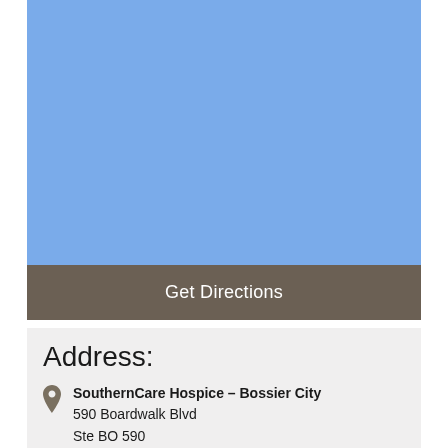[Figure (map): Blue placeholder map area for SouthernCare Hospice Bossier City location]
Get Directions
Address:
SouthernCare Hospice – Bossier City
590 Boardwalk Blvd
Ste BO 590